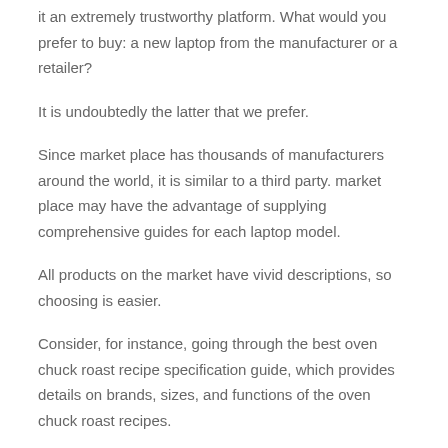it an extremely trustworthy platform. What would you prefer to buy: a new laptop from the manufacturer or a retailer?
It is undoubtedly the latter that we prefer.
Since market place has thousands of manufacturers around the world, it is similar to a third party. market place may have the advantage of supplying comprehensive guides for each laptop model.
All products on the market have vivid descriptions, so choosing is easier.
Consider, for instance, going through the best oven chuck roast recipe specification guide, which provides details on brands, sizes, and functions of the oven chuck roast recipes.
What specific feature are you seeking in a oven chuck roast